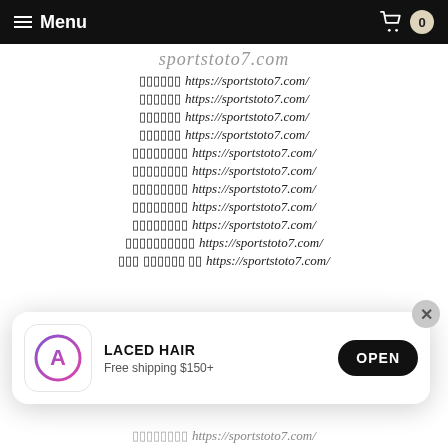Menu | 0
sportstoto7.com (partial, cut off at top)
?????? https://sportstoto7.com/
?????? https://sportstoto7.com/
?????? https://sportstoto7.com/
?????? https://sportstoto7.com/
???????? https://sportstoto7.com/
???????? https://sportstoto7.com/
???????? https://sportstoto7.com/
???????? https://sportstoto7.com/
???????? https://sportstoto7.com/
?????????? https://sportstoto7.com/
??? ?????? ?? https://sportstoto7.com/
[Figure (screenshot): App install banner for LACED HAIR with App Store icon, text 'LACED HAIR Free shipping $150+', and OPEN button]
???????? https://sportstoto7.com/ (partial, cut off at bottom)